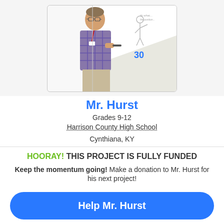[Figure (photo): A male teacher in a plaid shirt standing in front of a whiteboard with drawings on it, holding a marker]
Mr. Hurst
Grades 9-12
Harrison County High School
Cynthiana, KY
HOORAY! THIS PROJECT IS FULLY FUNDED
Keep the momentum going! Make a donation to Mr. Hurst for his next project!
Help Mr. Hurst